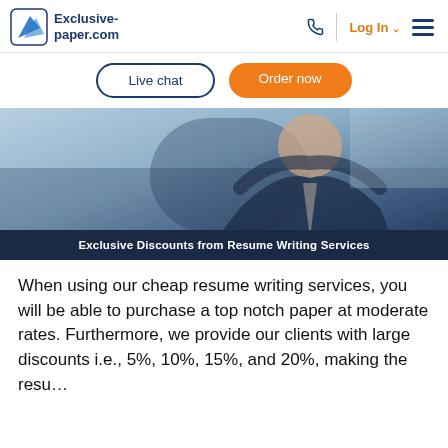[Figure (logo): Exclusive-paper.com logo with stylized blue paper/arrow icon]
Exclusive-paper.com | phone | Log In | menu
[Figure (other): Buttons row: Live chat (outlined) and Order now (orange)]
[Figure (photo): Hero photo of a man in a suit reclining in a chair with hands behind his head, in an office setting. Dark navy caption bar at the bottom reads: Exclusive Discounts from Resume Writing Services]
Exclusive Discounts from Resume Writing Services
When using our cheap resume writing services, you will be able to purchase a top notch paper at moderate rates. Furthermore, we provide our clients with large discounts i.e., 5%, 10%, 15%, and 20%, making the resu...